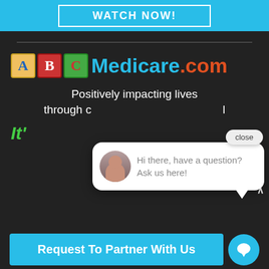WATCH NOW!
[Figure (logo): ABCMedicare.com logo with colorful ABC building blocks and blue/orange text]
Positively impacting lives through compassion and purposeful
It'
[Figure (screenshot): Chat popup widget with avatar and text: Hi there, have a question? Ask us here!]
Request To Partner With Us